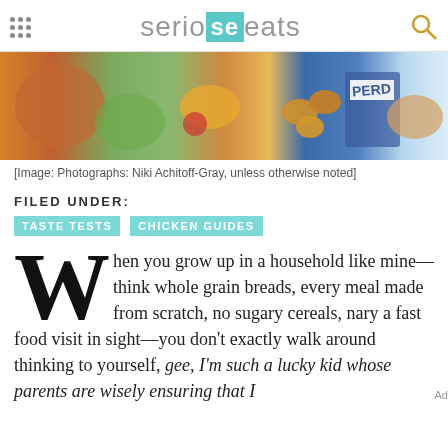serious eats
[Figure (photo): Banner collage of food photos including chicken nuggets, vegetables, and packaged chicken products (Perdue brand visible)]
[Image: Photographs: Niki Achitoff-Gray, unless otherwise noted]
FILED UNDER:
TASTE TESTS
CHICKEN GUIDES
When you grow up in a household like mine—think whole grain breads, every meal made from scratch, no sugary cereals, nary a fast food visit in sight—you don't exactly walk around thinking to yourself, gee, I'm such a lucky kid whose parents are wisely ensuring that I